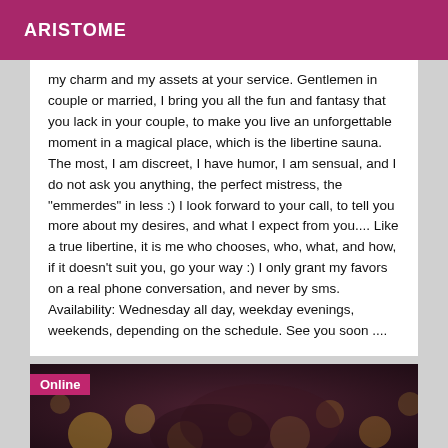ARISTOME
my charm and my assets at your service. Gentlemen in couple or married, I bring you all the fun and fantasy that you lack in your couple, to make you live an unforgettable moment in a magical place, which is the libertine sauna. The most, I am discreet, I have humor, I am sensual, and I do not ask you anything, the perfect mistress, the "emmerdes" in less :) I look forward to your call, to tell you more about my desires, and what I expect from you.... Like a true libertine, it is me who chooses, who, what, and how, if it doesn't suit you, go your way :) I only grant my favors on a real phone conversation, and never by sms. Availability: Wednesday all day, weekday evenings, weekends, depending on the schedule. See you soon ....
[Figure (photo): Blurred bokeh background photo with dark brown/maroon tones, with an 'Online' badge in the top-left corner.]